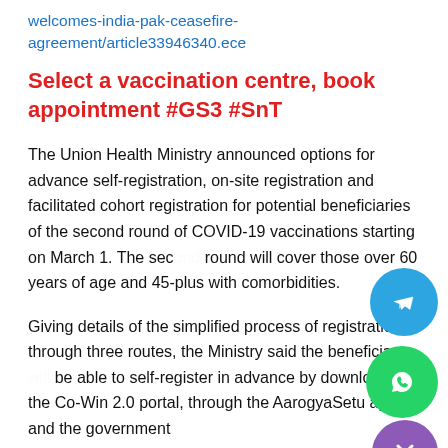welcomes-india-pak-ceasefire-agreement/article33946340.ece
Select a vaccination centre, book appointment #GS3 #SnT
The Union Health Ministry announced options for advance self-registration, on-site registration and facilitated cohort registration for potential beneficiaries of the second round of COVID-19 vaccinations starting on March 1. The second round will cover those over 60 years of age and 45-plus with comorbidities.
Giving details of the simplified process of registration through three routes, the Ministry said the beneficiaries will be able to self-register in advance by downloading the Co-Win 2.0 portal, through the AarogyaSetu app and the government
[Figure (other): Telegram share button (blue circle with paper airplane icon)]
[Figure (other): WhatsApp share button (green circle with phone icon)]
[Figure (other): Close button (purple circle with X icon)]